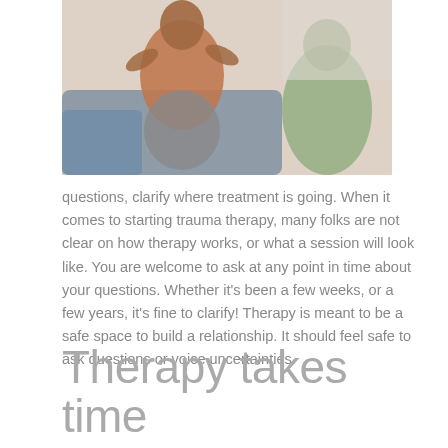[Figure (photo): Photo of two people in a therapy session, one person gesturing with hands while seated on a couch]
questions, clarify where treatment is going. When it comes to starting trauma therapy, many folks are not clear on how therapy works, or what a session will look like. You are welcome to ask at any point in time about your questions. Whether it's been a few weeks, or a few years, it's fine to clarify! Therapy is meant to be a safe space to build a relationship. It should feel safe to ask questions or voice uncertainties.
Therapy takes time